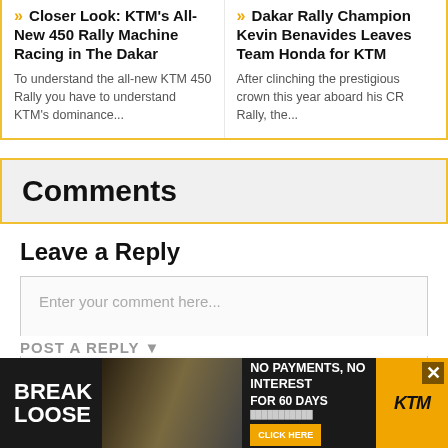» Closer Look: KTM's All-New 450 Rally Machine Racing in The Dakar
To understand the all-new KTM 450 Rally you have to understand KTM's dominance...
» Dakar Rally Champion Kevin Benavides Leaves Team Honda for KTM
After clinching the prestigious crown this year aboard his CR Rally, the...
Comments
Leave a Reply
Enter your comment here...
[Figure (screenshot): KTM advertisement banner: BREAK LOOSE text, motocross rider image, NO PAYMENTS, NO INTEREST FOR 60 DAYS offer, CLICK HERE button, KTM logo]